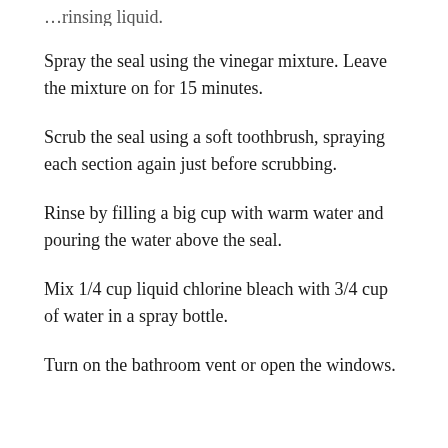…rinsing liquid.
Spray the seal using the vinegar mixture. Leave the mixture on for 15 minutes.
Scrub the seal using a soft toothbrush, spraying each section again just before scrubbing.
Rinse by filling a big cup with warm water and pouring the water above the seal.
Mix 1/4 cup liquid chlorine bleach with 3/4 cup of water in a spray bottle.
Turn on the bathroom vent or open the windows.